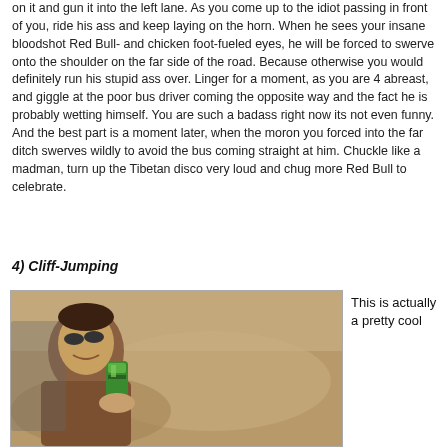on it and gun it into the left lane.  As you come up to the idiot passing in front of you, ride his ass and keep laying on the horn.  When he sees your insane bloodshot Red Bull- and chicken foot-fueled eyes, he will be forced to swerve onto the shoulder on the far side of the road.  Because otherwise you would definitely run his stupid ass over.  Linger for a moment, as you are 4 abreast, and giggle at the poor bus driver coming the opposite way and the fact he is probably wetting himself.  You are such a badass right now its not even funny.  And the best part is a moment later, when the moron you forced into the far ditch swerves wildly to avoid the bus coming straight at him.  Chuckle like a madman, turn up the Tibetan disco very loud and chug more Red Bull to celebrate.
4) Cliff-Jumping
[Figure (photo): A person drinking from a green can (Red Bull) while looking out a car window, sandy/dusty terrain visible in background]
This is actually a pretty cool